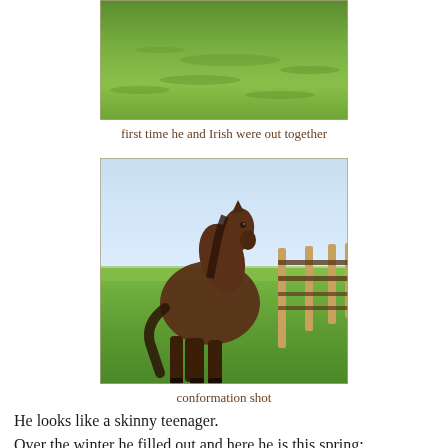[Figure (photo): Top portion of a green grassy field, cropped photo showing lush green grass.]
first time he and Irish were out together
[Figure (photo): A young dark brown/bay horse standing in a green field next to a wooden fence with horizontal rails. The horse appears lean and tall, photographed in a conformation stance.]
conformation shot
He looks like a skinny teenager.
Over the winter he filled out and here he is this spring: